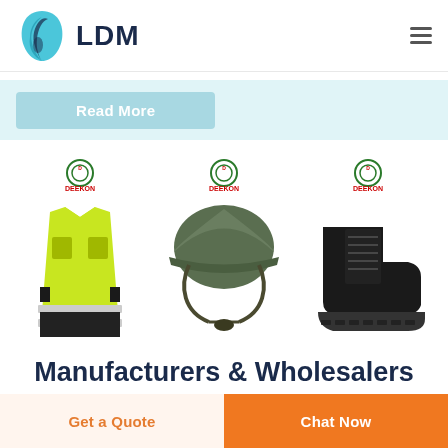[Figure (logo): LDM logo with teal leaf/tooth icon and bold dark blue LDM text, hamburger menu icon on right]
[Figure (screenshot): Light blue 'Read More' button on light blue/teal background]
[Figure (photo): Three product images with DEEKON branding: yellow hi-vis safety vest, olive military helmet with chin strap, black safety shoe/boot]
Manufacturers & Wholesalers
[Figure (infographic): Bottom bar with two buttons: 'Get a Quote' (light peach background, orange text) and 'Chat Now' (orange background, white text)]